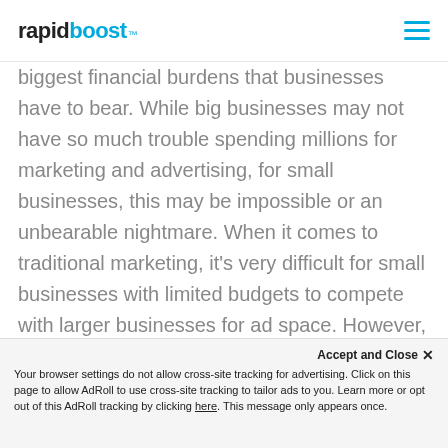rapidboost
biggest financial burdens that businesses have to bear. While big businesses may not have so much trouble spending millions for marketing and advertising, for small businesses, this may be impossible or an unbearable nightmare. When it comes to traditional marketing, it's very difficult for small businesses with limited budgets to compete with larger businesses for ad space. However, with affordable digital marketing tactics, small businesses can get more for their marketing investments. Marketing
Accept and Close ✕
Your browser settings do not allow cross-site tracking for advertising. Click on this page to allow AdRoll to use cross-site tracking to tailor ads to you. Learn more or opt out of this AdRoll tracking by clicking here. This message only appears once.